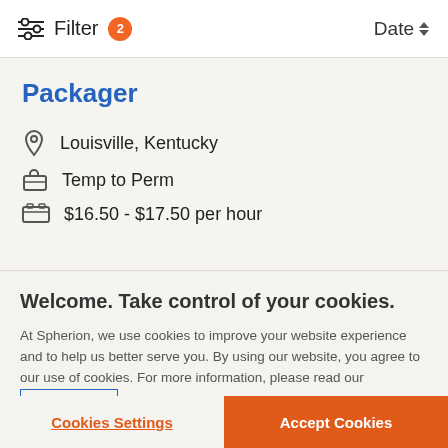Filter 2   Date
Packager
Louisville, Kentucky
Temp to Perm
$16.50 - $17.50 per hour
Welcome. Take control of your cookies.
At Spherion, we use cookies to improve your website experience and to help us better serve you. By using our website, you agree to our use of cookies. For more information, please read our cookie policy
Cookies Settings   Accept Cookies